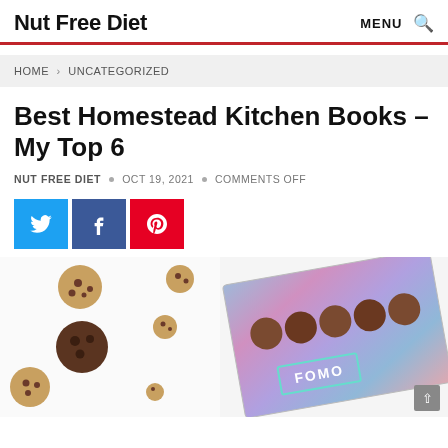Nut Free Diet   MENU 🔍
HOME > UNCATEGORIZED
Best Homestead Kitchen Books – My Top 6
NUT FREE DIET  •  OCT 19, 2021  •  COMMENTS OFF
[Figure (screenshot): Social share buttons: Twitter (blue), Facebook (dark blue), Pinterest (red)]
[Figure (photo): Photo of scattered cookies on white background on left, and a FOMO branded holographic package of mini cookies on the right]